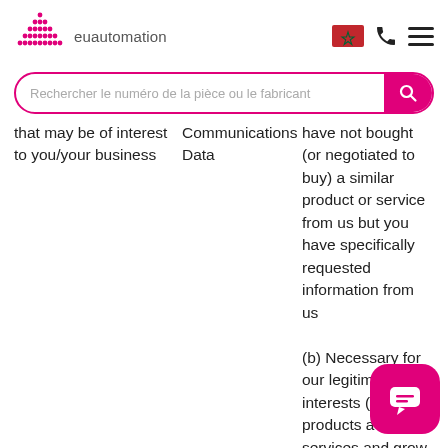[Figure (logo): EU Automation logo — red triangular dot-matrix triangle with 'euautomation' text beside it]
[Figure (other): Navigation icons: Moroccan flag, phone handset, hamburger menu]
[Figure (other): Search bar with pink border and pink search button, placeholder text: Rechercher le numéro de la pièce ou le fabricant]
| that may be of interest to you/your business | Communications Data | have not bought (or negotiated to buy) a similar product or service from us but you have specifically requested information from us

(b) Necessary for our legitimate interests (to de our products a services and grow |
[Figure (other): Pink rounded square chat button with white chat/message icon in bottom right corner]